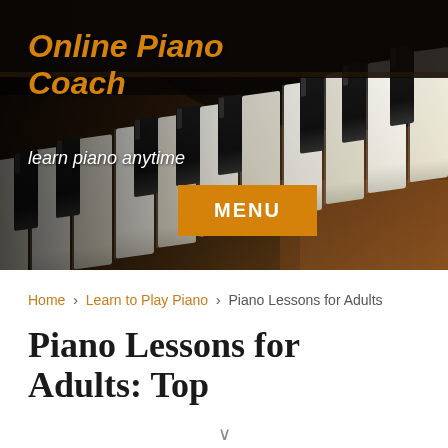[Figure (photo): Close-up photo of a grand piano keyboard with black and white keys, dark warm brown/amber tones in the background. The piano keys are viewed from an angle showing the tops and sides of the keys.]
Online Piano Coach
learn piano anytime
MENU
Home › Learn to Play Piano › Piano Lessons for Adults
Piano Lessons for Adults: Top